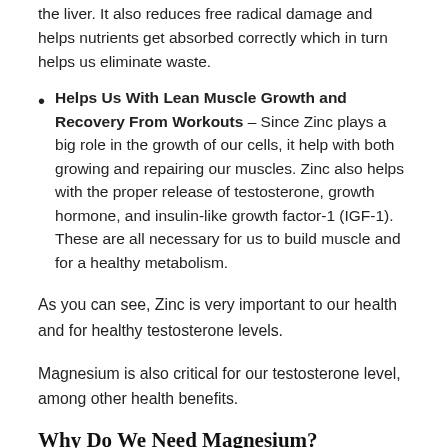the liver. It also reduces free radical damage and helps nutrients get absorbed correctly which in turn helps us eliminate waste.
Helps Us With Lean Muscle Growth and Recovery From Workouts – Since Zinc plays a big role in the growth of our cells, it help with both growing and repairing our muscles. Zinc also helps with the proper release of testosterone, growth hormone, and insulin-like growth factor-1 (IGF-1). These are all necessary for us to build muscle and for a healthy metabolism.
As you can see, Zinc is very important to our health and for healthy testosterone levels.
Magnesium is also critical for our testosterone level, among other health benefits.
Why Do We Need Magnesium?
Magnesium is one of the most abundant minerals found